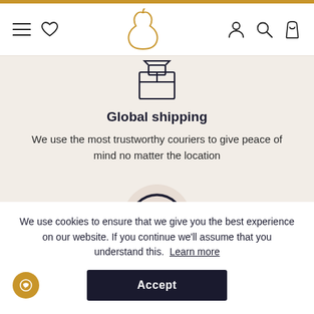[Figure (screenshot): Navigation bar with hamburger menu, heart icon, pear-shaped logo (gold outline), person icon, search icon, and shopping bag icon]
[Figure (illustration): Shipping box icon inside a circular background on beige section]
Global shipping
We use the most trustworthy couriers to give peace of mind no matter the location
[Figure (illustration): Money bag with dollar sign inside a no-symbol (circle with diagonal line) on beige background]
We use cookies to ensure that we give you the best experience on our website. If you continue we'll assume that you understand this. Learn more
Accept